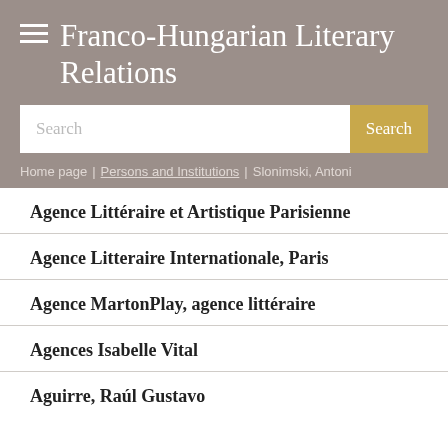Franco-Hungarian Literary Relations
Search
Home page / Persons and Institutions / Slonimski, Antoni
Agence Littéraire et Artistique Parisienne
Agence Litteraire Internationale, Paris
Agence MartonPlay, agence littéraire
Agences Isabelle Vital
Aguirre, Raúl Gustavo